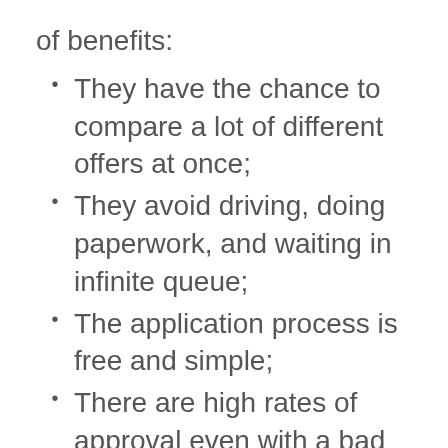of benefits:
They have the chance to compare a lot of different offers at once;
They avoid driving, doing paperwork, and waiting in infinite queue;
The application process is free and simple;
There are high rates of approval even with a bad credit history;
They have access to a trusted network of lenders that perform no